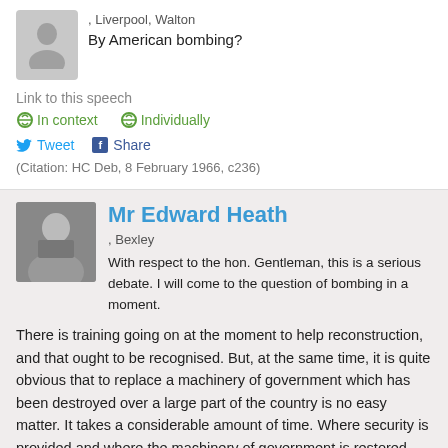[Figure (photo): Grey silhouette placeholder avatar for anonymous speaker from Liverpool, Walton]
, Liverpool, Walton
By American bombing?
Link to this speech
In context   Individually
Tweet   Share
(Citation: HC Deb, 8 February 1966, c236)
[Figure (photo): Black and white photo of Mr Edward Heath, a man in a suit]
Mr Edward Heath
, Bexley
With respect to the hon. Gentleman, this is a serious debate. I will come to the question of bombing in a moment.
There is training going on at the moment to help reconstruction, and that ought to be recognised. But, at the same time, it is quite obvious that to replace a machinery of government which has been destroyed over a large part of the country is no easy matter. It takes a considerable amount of time. Where security is provided and where the machinery of government is restored, then, in Vietnam, they can move on to the fundamental necessities of life—the farm, the fertiliser, the